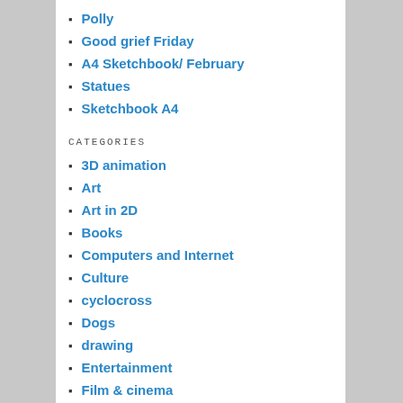Polly
Good grief Friday
A4 Sketchbook/ February
Statues
Sketchbook A4
CATEGORIES
3D animation
Art
Art in 2D
Books
Computers and Internet
Culture
cyclocross
Dogs
drawing
Entertainment
Film & cinema
Food and drink
Games
Garden